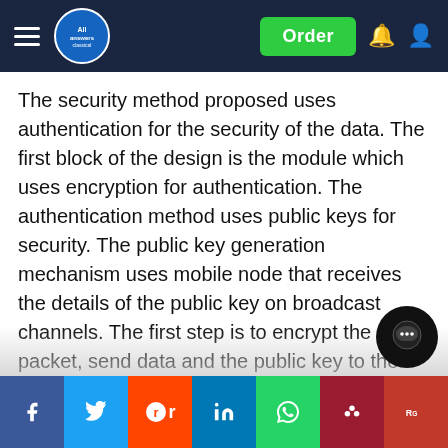All Answers Limited — header navigation bar with Order button
The security method proposed uses authentication for the security of the data. The first block of the design is the module which uses encryption for authentication. The authentication method uses public keys for security. The public key generation mechanism uses mobile node that receives the details of the public key on broadcast channels. The first step is to encrypt the data packet, send data and the public key to the base station. The base station then decrypts the data and validates it. There are other parameters that are used such as response token, cipher, key, and public keys of the base station and mobile nodes. The authentication process used in the proposed solution offers user authentication, hop by hop authentication and a new scheme called neighbor authentication. These keys are used appropriately at each stage. Upo... ...es its add... which is sent to the base station after...
Social share bar: Facebook, Twitter, Reddit, LinkedIn, WhatsApp, Mendeley, ResearchGate